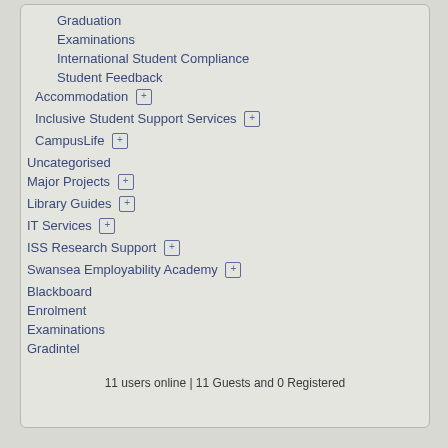Graduation
Examinations
International Student Compliance
Student Feedback
Accommodation [+]
Inclusive Student Support Services [+]
CampusLife [+]
Uncategorised
Major Projects [+]
Library Guides [+]
IT Services [+]
ISS Research Support [+]
Swansea Employability Academy [+]
Blackboard
Enrolment
Examinations
Gradintel
11 users online | 11 Guests and 0 Registered